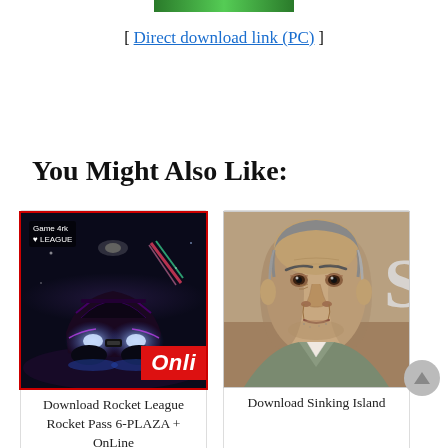[Figure (other): Green gradient bar at top of page]
[ Direct download link (PC) ]
You Might Also Like:
[Figure (screenshot): Rocket League Rocket Pass 6 game screenshot showing a futuristic car from behind with neon lights and 'Onli' text overlay and Game4k League watermark]
Download Rocket League Rocket Pass 6-PLAZA + OnLine
[Figure (screenshot): Sinking Island game screenshot showing a middle-aged man's face close-up]
Download Sinking Island